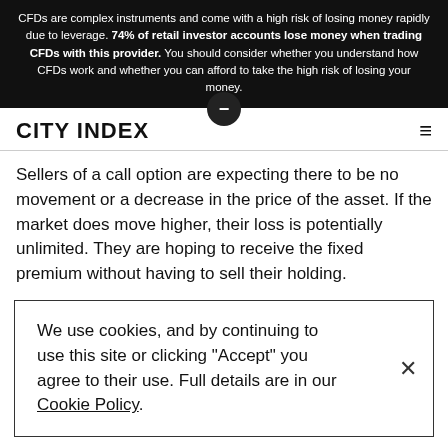CFDs are complex instruments and come with a high risk of losing money rapidly due to leverage. 74% of retail investor accounts lose money when trading CFDs with this provider. You should consider whether you understand how CFDs work and whether you can afford to take the high risk of losing your money.
CITY INDEX
Sellers of a call option are expecting there to be no movement or a decrease in the price of the asset. If the market does move higher, their loss is potentially unlimited. They are hoping to receive the fixed premium without having to sell their holding.
We use cookies, and by continuing to use this site or clicking "Accept" you agree to their use. Full details are in our Cookie Policy.
Buyers ... in the price ... t at the strike price of the contract. If the market price rises